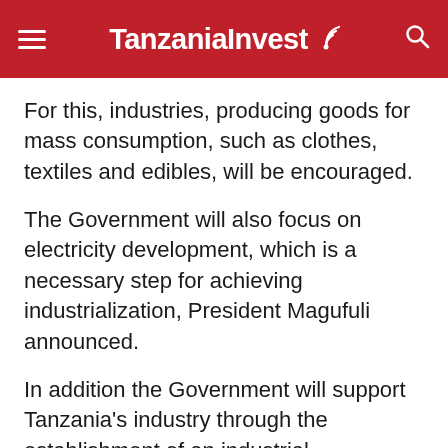TanzaniaInvest
For this, industries, producing goods for mass consumption, such as clothes, textiles and edibles, will be encouraged.
The Government will also focus on electricity development, which is a necessary step for achieving industrialization, President Magufuli announced.
In addition the Government will support Tanzania's industry through the establishment of an industrial development bank and reduction of taxes on locally produced goods.
During a Q & A open session with reporters at